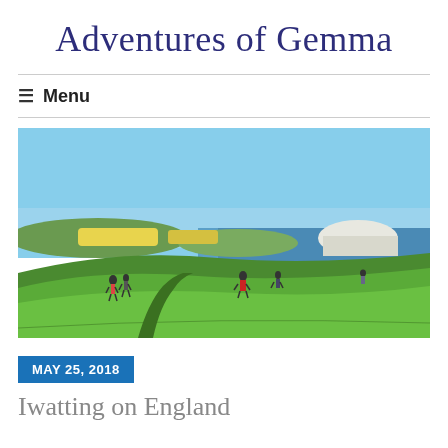Adventures of Gemma
≡ Menu
[Figure (photo): Panoramic outdoor photo showing people walking on green hillside cliffs with blue sea and white chalk cliffs in the distance, under a clear blue sky with yellow rapeseed fields visible inland.]
MAY 25, 2018
Iwatting on England